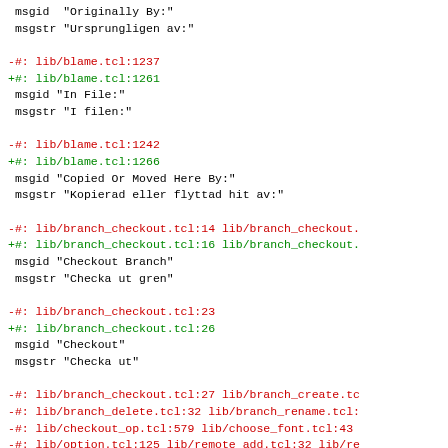msgid "Originally By:"
 msgstr "Ursprungligen av:"

-#: lib/blame.tcl:1237
+#: lib/blame.tcl:1261
 msgid "In File:"
 msgstr "I filen:"

-#: lib/blame.tcl:1242
+#: lib/blame.tcl:1266
 msgid "Copied Or Moved Here By:"
 msgstr "Kopierad eller flyttad hit av:"

-#: lib/branch_checkout.tcl:14 lib/branch_checkout.
+#: lib/branch_checkout.tcl:16 lib/branch_checkout.
 msgid "Checkout Branch"
 msgstr "Checka ut gren"

-#: lib/branch_checkout.tcl:23
+#: lib/branch_checkout.tcl:26
 msgid "Checkout"
 msgstr "Checka ut"

-#: lib/branch_checkout.tcl:27 lib/branch_create.tc
-#: lib/branch_delete.tcl:32 lib/branch_rename.tcl:
-#: lib/checkout_op.tcl:579 lib/choose_font.tcl:43
-#: lib/option.tcl:125 lib/remote_add.tcl:32 lib/re
-#: lib/tools_dlg.tcl:40 lib/tools_dlg.tcl:204 lib/
-#: lib/transport.tcl:108
+#: lib/branch_checkout.tcl:30 lib/branch_create.tc
+#: lib/branch_delete.tcl:34 lib/branch_rename.tcl